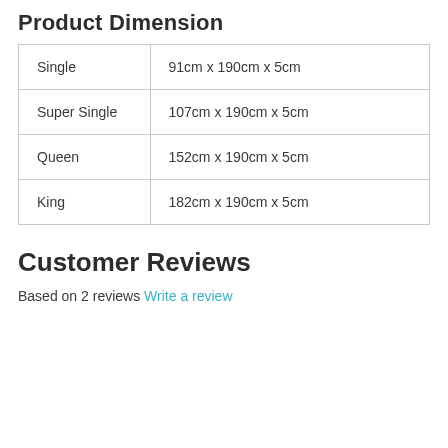Product Dimension
| Single | 91cm x 190cm x 5cm |
| Super Single | 107cm x 190cm x 5cm |
| Queen | 152cm x 190cm x 5cm |
| King | 182cm x 190cm x 5cm |
Customer Reviews
Based on 2 reviews Write a review